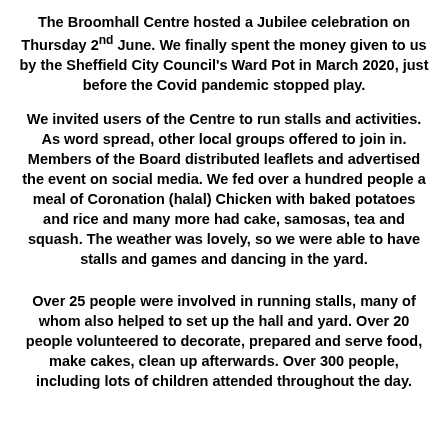The Broomhall Centre hosted a Jubilee celebration on Thursday 2nd June. We finally spent the money given to us by the Sheffield City Council's Ward Pot in March 2020, just before the Covid pandemic stopped play.
We invited users of the Centre to run stalls and activities. As word spread, other local groups offered to join in. Members of the Board distributed leaflets and advertised the event on social media. We fed over a hundred people a meal of Coronation (halal) Chicken with baked potatoes and rice and many more had cake, samosas, tea and squash. The weather was lovely, so we were able to have stalls and games and dancing in the yard.
Over 25 people were involved in running stalls, many of whom also helped to set up the hall and yard. Over 20 people volunteered to decorate, prepared and serve food, make cakes, clean up afterwards. Over 300 people, including lots of children attended throughout the day.